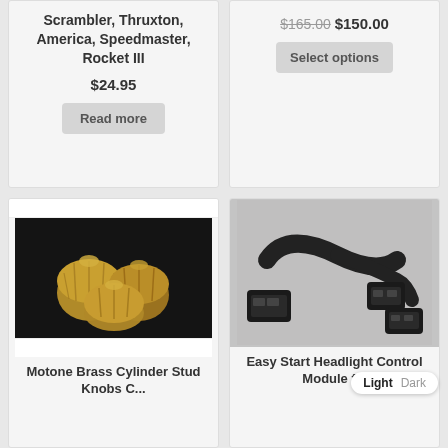Scrambler, Thruxton, America, Speedmaster, Rocket III
$24.95
Read more
$165.00 $150.00
Select options
[Figure (photo): Four brass cylinder stud knob-like decorative caps on a dark background]
Motone Brass Cylinder Stud Knobs C...
[Figure (photo): Easy Start Headlight Control Module wiring harness with two black connectors on a gray background]
Easy Start Headlight Control Module f...